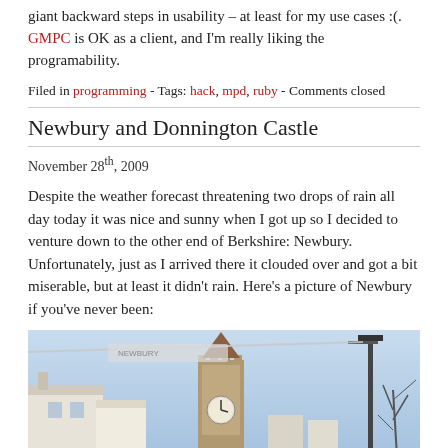giant backward steps in usability – at least for my use cases :(. GMPC is OK as a client, and I'm really liking the programability.
Filed in programming - Tags: hack, mpd, ruby - Comments closed
Newbury and Donnington Castle
November 28th, 2009
Despite the weather forecast threatening two drops of rain all day today it was nice and sunny when I got up so I decided to venture down to the other end of Berkshire: Newbury. Unfortunately, just as I arrived there it clouded over and got a bit miserable, but at least it didn't rain. Here's a picture of Newbury if you've never been:
[Figure (photo): Photo of Newbury showing a clock tower, white buildings on the left, a lamp post on the right, and a wire/banner across the top, under a blue sky.]